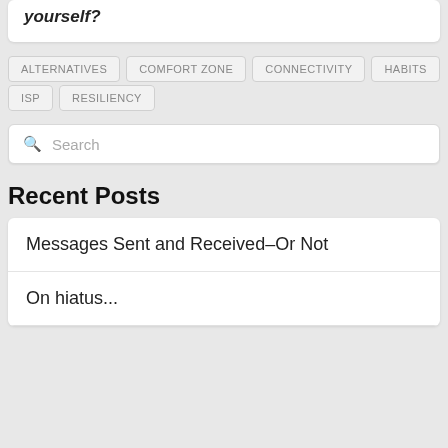yourself?
ALTERNATIVES
COMFORT ZONE
CONNECTIVITY
HABITS
ISP
RESILIENCY
Search
Recent Posts
Messages Sent and Received–Or Not
On hiatus...